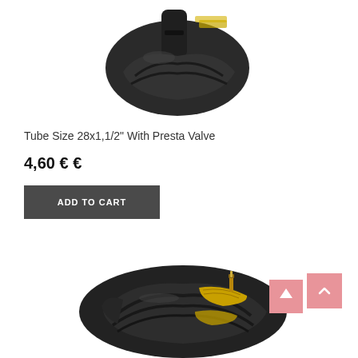[Figure (photo): Bicycle inner tube folded/bundled, viewed from above, black rubber with yellow label branding visible at top]
Tube Size 28x1,1/2" With Presta Valve
4,60 € €
ADD TO CART
[Figure (photo): Bicycle inner tube coiled/folded showing multiple black rubber layers with yellow branded label and a brass Presta valve visible]